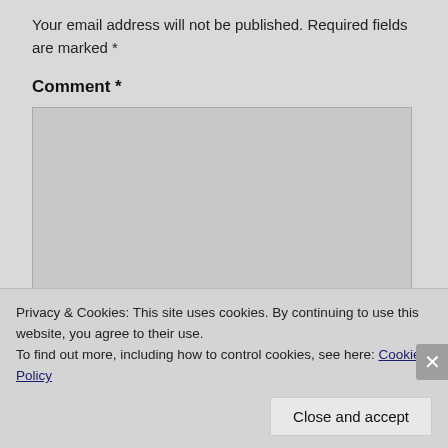Your email address will not be published. Required fields are marked *
Comment *
[Figure (screenshot): Empty comment text area input box with light gray background]
Privacy & Cookies: This site uses cookies. By continuing to use this website, you agree to their use.
To find out more, including how to control cookies, see here: Cookie Policy
Close and accept